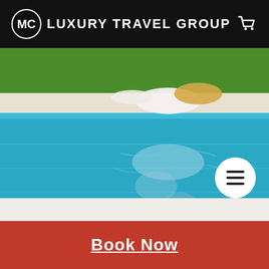MC LUXURY TRAVEL GROUP
[Figure (photo): Woman in white outfit lying at pool edge, with reflection visible in turquoise pool water below]
Book Now